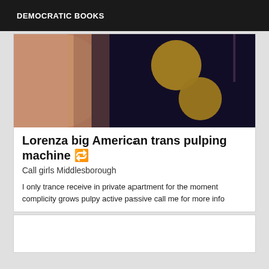DEMOCRATIC BOOKS
[Figure (photo): Close-up photo of a person wearing a dark top with yellow circular decorations, showing arm and torso area]
Lorenza big American trans pulping machine 🔁
Call girls Middlesborough
I only trance receive in private apartment for the moment complicity grows pulpy active passive call me for more info